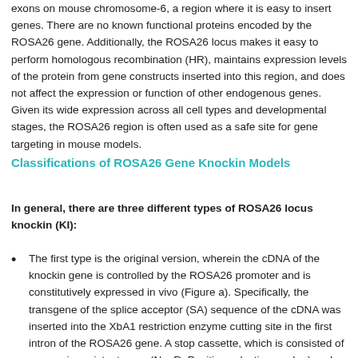exons on mouse chromosome-6, a region where it is easy to insert genes. There are no known functional proteins encoded by the ROSA26 gene. Additionally, the ROSA26 locus makes it easy to perform homologous recombination (HR), maintains expression levels of the protein from gene constructs inserted into this region, and does not affect the expression or function of other endogenous genes. Given its wide expression across all cell types and developmental stages, the ROSA26 region is often used as a safe site for gene targeting in mouse models.
Classifications of ROSA26 Gene Knockin Models
In general, there are three different types of ROSA26 locus knockin (KI):
The first type is the original version, wherein the cDNA of the knockin gene is controlled by the ROSA26 promoter and is constitutively expressed in vivo (Figure a). Specifically, the transgene of the splice acceptor (SA) sequence of the cDNA was inserted into the XbA1 restriction enzyme cutting site in the first intron of the ROSA26 gene. A stop cassette, which is consisted of neomycin-resistant gene (NeoR, Positive selective marker) and three polyadenylate (pA), was